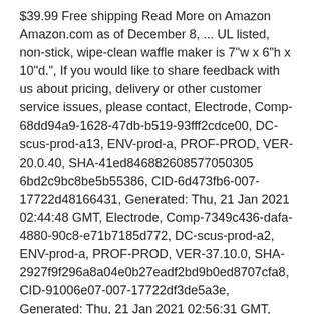$39.99 Free shipping Read More on Amazon Amazon.com as of December 8, ... UL listed, non-stick, wipe-clean waffle maker is 7"w x 6"h x 10"d.", If you would like to share feedback with us about pricing, delivery or other customer service issues, please contact, Electrode, Comp-68dd94a9-1628-47db-b519-93fff2cdce00, DC-scus-prod-a13, ENV-prod-a, PROF-PROD, VER-20.0.40, SHA-41ed846882608577050305 6bd2c9bc8be5b55386, CID-6d473fb6-007-17722d48166431, Generated: Thu, 21 Jan 2021 02:44:48 GMT, Electrode, Comp-7349c436-dafa-4880-90c8-e71b7185d772, DC-scus-prod-a2, ENV-prod-a, PROF-PROD, VER-37.10.0, SHA-2927f9f296a8a04e0b27eadf2bd9b0ed8707cfa8, CID-91006e07-007-17722df3de5a3e, Generated: Thu, 21 Jan 2021 02:56:31 GMT, Error: Please enter a valid ZIP code or city and state. UL listed, non-stick,